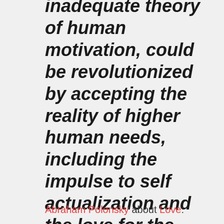inadequate theory of human motivation, could be revolutionized by accepting the reality of higher human needs, including the impulse to self actualization and the love for the highest values.
Read More
Abraham Polonsky about Love: